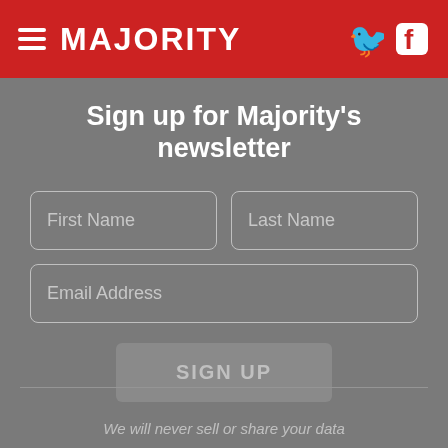MAJORITY
Sign up for Majority's newsletter
First Name
Last Name
Email Address
SIGN UP
We will never sell or share your data